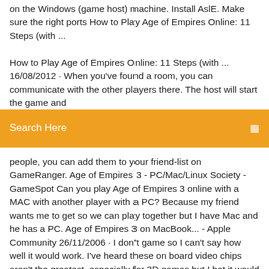on the Windows (game host) machine. Install ASLÉ. Make sure the right ports How to Play Age of Empires Online: 11 Steps (with ...
How to Play Age of Empires Online: 11 Steps (with ... 16/08/2012 · When you've found a room, you can communicate with the other players there. The host will start the game and
Search Here
people, you can add them to your friend-list on GameRanger. Age of Empires 3 - PC/Mac/Linux Society - GameSpot Can you play Age of Empires 3 online with a MAC with another player with a PC? Because my friend wants me to get so we can play together but I have Mac and he has a PC. Age of Empires 3 on MacBook... - Apple Community 26/11/2006 · I don't game so I can't say how well it would work. I've heard these on board video chips aren't the greatest, especially for 3D games but I bet it would work. I would assume you'd be limited exactly the same